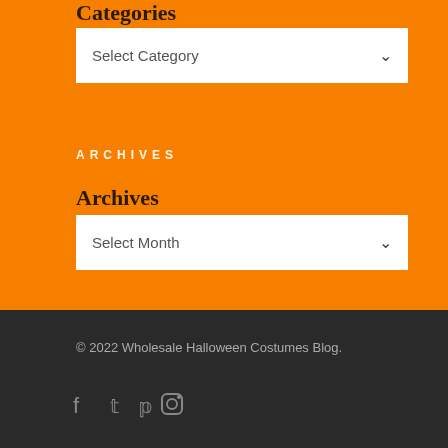Categories
Select Category
ARCHIVES
Archives
Select Month
© 2022 Wholesale Halloween Costumes Blog.